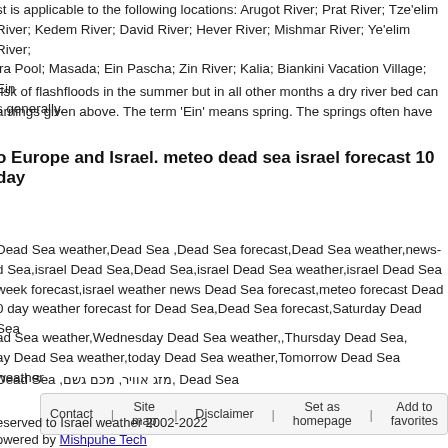st is applicable to the following locations: Arugot River; Prat River; Tze'elim River; Kedem River; David River; Hever River; Mishmar River; Ye'elim River; ira Pool; Masada; Ein Pascha; Zin River; Kalia; Biankini Vacation Village; Ein s generally.
risk of flashfloods in the summer but in all other months a dry river bed can arnings given above. The term 'Ein' means spring. The springs often have
o Europe and Israel. meteo dead sea israel forecast 10 day
Dead Sea weather,Dead Sea ,Dead Sea forecast,Dead Sea weather,news-d Sea,israel Dead Sea,Dead Sea,israel Dead Sea weather,israel Dead Sea week forecast,israel weather news Dead Sea forecast,meteo forecast Dead 0 day weather forecast for Dead Sea,Dead Sea forecast,Saturday Dead Sea
ad Sea weather,Wednesday Dead Sea weather,,Thursday Dead Sea, ay Dead Sea weather,today Dead Sea weather,Tomorrow Dead Sea weather
Dead Sea ,מזג אוויר, מכם גשם, Dead Sea
Contact | Site map | Disclaimer | Set as homepage | Add to favorites
eserved to Israel weather 2002-2022
owered by Mishpuhe Tech